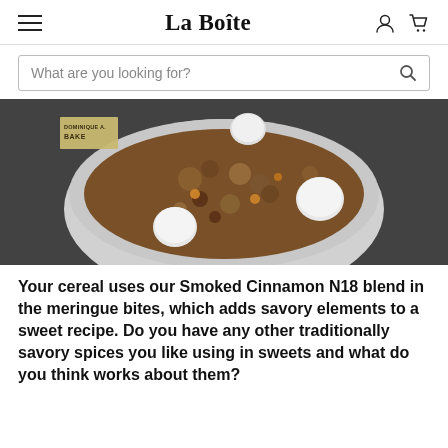La Boîte
[Figure (screenshot): Search bar with placeholder text 'What are you looking for?' and a search icon on the right]
[Figure (photo): Overhead photo of a white bowl filled with granola-like cereal mixture and white meringue bites/eggs, on a dark slate background, with a Dominique Ansel Bakery label tag visible in the upper left]
Your cereal uses our Smoked Cinnamon N18 blend in the meringue bites, which adds savory elements to a sweet recipe. Do you have any other traditionally savory spices you like using in sweets and what do you think works about them?